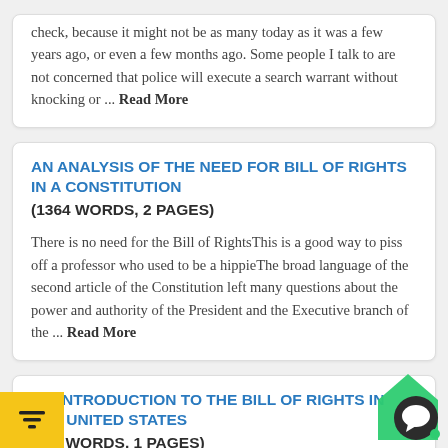check, because it might not be as many today as it was a few years ago, or even a few months ago. Some people I talk to are not concerned that police will execute a search warrant without knocking or ... Read More
AN ANALYSIS OF THE NEED FOR BILL OF RIGHTS IN A CONSTITUTION
(1364 WORDS, 2 PAGES)
There is no need for the Bill of RightsThis is a good way to piss off a professor who used to be a hippieThe broad language of the second article of the Constitution left many questions about the power and authority of the President and the Executive branch of the ... Read More
AN INTRODUCTION TO THE BILL OF RIGHTS IN THE UNITED STATES
(05 WORDS, 1 PAGES)
In most countries through the world, the idea of freedom is